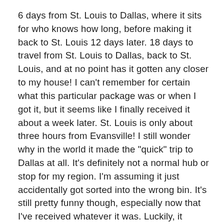6 days from St. Louis to Dallas, where it sits for who knows how long, before making it back to St. Louis 12 days later. 18 days to travel from St. Louis to Dallas, back to St. Louis, and at no point has it gotten any closer to my house! I can't remember for certain what this particular package was or when I got it, but it seems like I finally received it about a week later. St. Louis is only about three hours from Evansville! I still wonder why in the world it made the "quick" trip to Dallas at all. It's definitely not a normal hub or stop for my region. I'm assuming it just accidentally got sorted into the wrong bin. It's still pretty funny though, especially now that I've received whatever it was. Luckily, it wasn't like it was life saving medication or anything important.